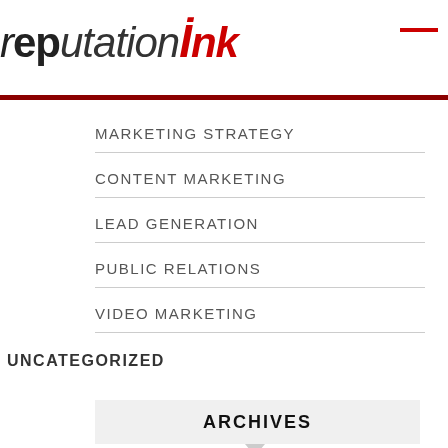[Figure (logo): Reputation Ink logo with stylized lowercase text, 'rep' in dark gray italic, 'utation' in gray italic, 'ink' in red italic with red dot accent]
MARKETING STRATEGY
CONTENT MARKETING
LEAD GENERATION
PUBLIC RELATIONS
VIDEO MARKETING
UNCATEGORIZED
ARCHIVES